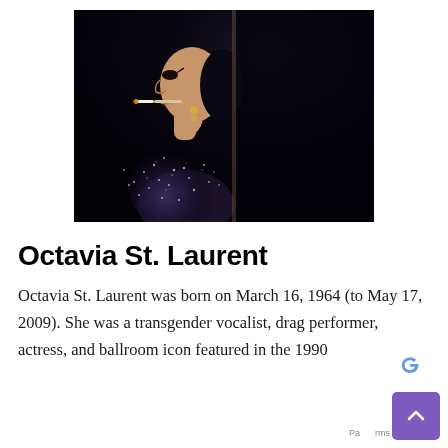[Figure (photo): Black and white style photo of Octavia St. Laurent in profile view, wearing a sparkling sequined outfit, with a cigarette in her mouth, dramatic makeup and earrings, against a very dark background.]
Octavia St. Laurent
Octavia St. Laurent was born on March 16, 1964 (to May 17, 2009). She was a transgender vocalist, drag performer, actress, and ballroom icon featured in the 1990